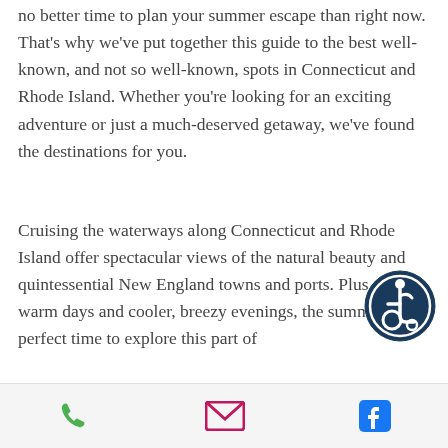no better time to plan your summer escape than right now. That's why we've put together this guide to the best well-known, and not so well-known, spots in Connecticut and Rhode Island. Whether you're looking for an exciting adventure or just a much-deserved getaway, we've found the destinations for you.
[Figure (illustration): Accessibility icon — white wheelchair user symbol on a dark navy circular background with a ring border]
Cruising the waterways along Connecticut and Rhode Island offer spectacular views of the natural beauty and quintessential New England towns and ports. Plus, with warm days and cooler, breezy evenings, the summer is the perfect time to explore this part of
Phone icon, Email icon, Facebook icon